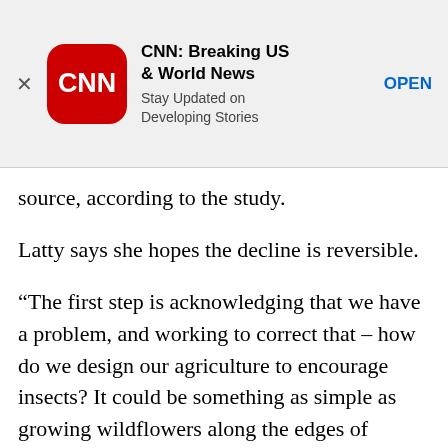[Figure (screenshot): CNN app advertisement banner with close button (X), CNN red rounded square logo, app name 'CNN: Breaking US & World News', subtitle 'Stay Updated on Developing Stories', and blue 'OPEN' button]
source, according to the study.
Latty says she hopes the decline is reversible.
“The first step is acknowledging that we have a problem, and working to correct that – how do we design our agriculture to encourage insects? It could be something as simple as growing wildflowers along the edges of fields.”
She says we also need to improve people’s education around insect populations – “that insects are important, absolutely crucial to our survival,” and to deal with pests sensibly.
“There’s so much going on out there, it’s a struggle